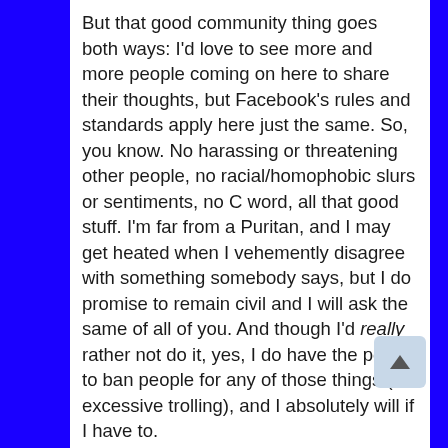But that good community thing goes both ways: I'd love to see more and more people coming on here to share their thoughts, but Facebook's rules and standards apply here just the same. So, you know. No harassing or threatening other people, no racial/homophobic slurs or sentiments, no C word, all that good stuff. I'm far from a Puritan, and I may get heated when I vehemently disagree with something somebody says, but I do promise to remain civil and I will ask the same of all of you. And though I'd really rather not do it, yes, I do have the power to ban people for any of those things (or excessive trolling), and I absolutely will if I have to.
We've taken some major steps toward becoming the web's premiere Gator site, and the only thing still missing is a community. Our Facebook page has 34,000 likes, we're approaching 10,000 followers on